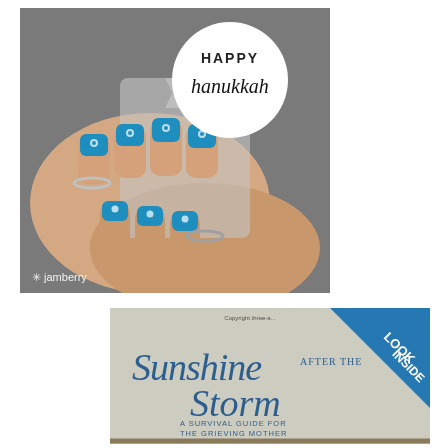[Figure (photo): Jamberry nail wraps promotional image showing hands with blue flower-pattern nail wraps holding a silver Star of David, with a white circle overlay reading 'HAPPY hanukkah' and the Jamberry logo in the bottom left corner.]
[Figure (photo): Book cover for 'Sunshine after the Storm: A Survival Guide for the Grieving Mother' showing cursive and serif title text on a light grey background, with a blue triangle 'LOOK INSIDE' badge in the top right corner.]